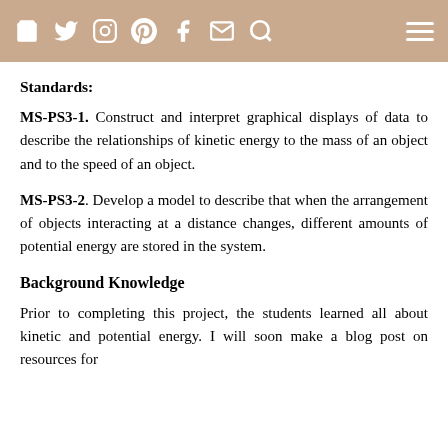[header bar with social/nav icons]
Standards:
MS-PS3-1. Construct and interpret graphical displays of data to describe the relationships of kinetic energy to the mass of an object and to the speed of an object.
MS-PS3-2. Develop a model to describe that when the arrangement of objects interacting at a distance changes, different amounts of potential energy are stored in the system.
Background Knowledge
Prior to completing this project, the students learned all about kinetic and potential energy. I will soon make a blog post on resources for